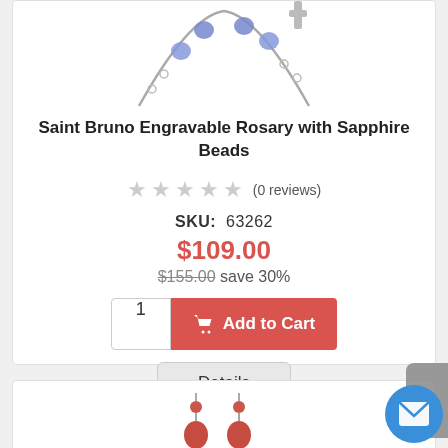[Figure (photo): Silver chain rosary with blue/sapphire beads and a small cross pendant, partially visible from top]
Saint Bruno Engravable Rosary with Sapphire Beads
★★★★★ (0 reviews)
SKU:  63262
$109.00
$155.00 save 30%
1  Add to Cart
Details
[Figure (photo): Red gemstone drop earrings, partially visible at bottom of page]